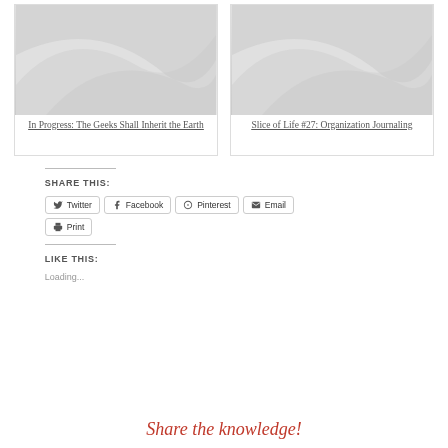[Figure (illustration): Placeholder image card with grey swirl pattern for 'In Progress: The Geeks Shall Inherit the Earth']
In Progress: The Geeks Shall Inherit the Earth
[Figure (illustration): Placeholder image card with grey swirl pattern for 'Slice of Life #27: Organization Journaling']
Slice of Life #27: Organization Journaling
SHARE THIS:
Twitter
Facebook
Pinterest
Email
Print
LIKE THIS:
Loading...
Share the knowledge!